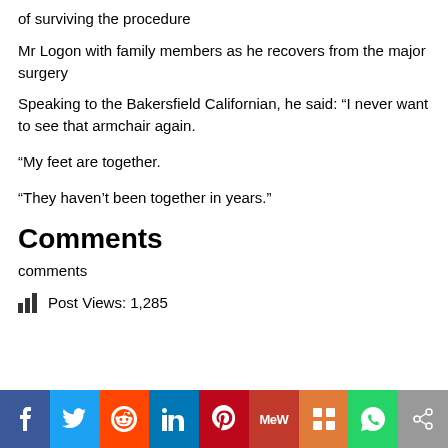of surviving the procedure
Mr Logon with family members as he recovers from the major surgery
Speaking to the Bakersfield Californian, he said: “I never want to see that armchair again.
“My feet are together.
“They haven’t been together in years.”
Comments
comments
Post Views: 1,285
[Figure (other): Social sharing bar with buttons: Facebook, Twitter, Reddit, LinkedIn, Pinterest, MeWe, Mix, WhatsApp, Share]